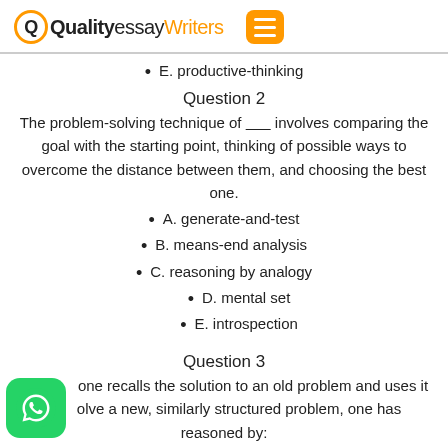QualityessayWriters
E. productive-thinking
Question 2
The problem-solving technique of ______ involves comparing the goal with the starting point, thinking of possible ways to overcome the distance between them, and choosing the best one.
A. generate-and-test
B. means-end analysis
C. reasoning by analogy
D. mental set
E. introspection
Question 3
one recalls the solution to an old problem and uses it to solve a new, similarly structured problem, one has reasoned by: